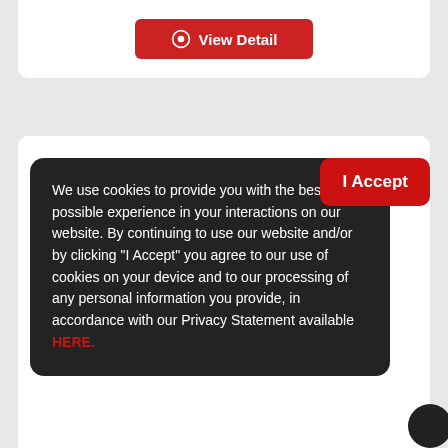[Figure (screenshot): Red 'View Detail' button with eye icon on white card background]
[Figure (screenshot): Cookie consent overlay modal on dark background with 'I Accept' red button. Text reads: 'We use cookies to provide you with the best possible experience in your interactions on our website. By continuing to use our website and/or by clicking "I Accept" you agree to our use of cookies on your device and to our processing of any personal information you provide, in accordance with our Privacy Statement available HERE.']